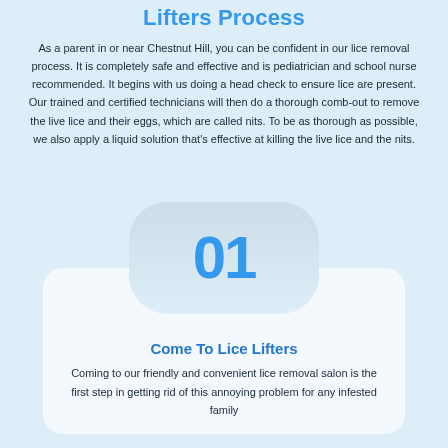Lifters Process
As a parent in or near Chestnut Hill, you can be confident in our lice removal process. It is completely safe and effective and is pediatrician and school nurse recommended. It begins with us doing a head check to ensure lice are present. Our trained and certified technicians will then do a thorough comb-out to remove the live lice and their eggs, which are called nits. To be as thorough as possible, we also apply a liquid solution that's effective at killing the live lice and the nits.
[Figure (infographic): Rounded rectangle badge with large number '01' in blue]
Come To Lice Lifters
Coming to our friendly and convenient lice removal salon is the first step in getting rid of this annoying problem for any infested family